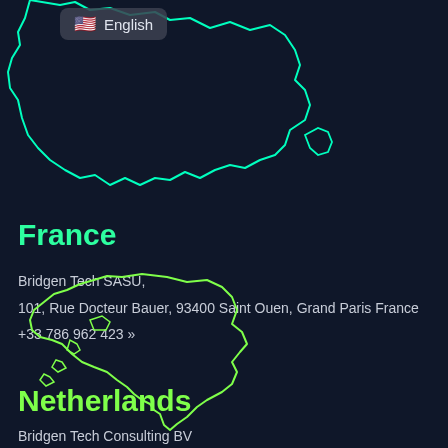[Figure (map): Outline map of France in cyan/teal color on dark navy background, cropped at top]
English (language badge with US flag)
France
Bridgen Tech SASU,
101, Rue Docteur Bauer, 93400 Saint Ouen, Grand Paris France
+33 786 962 423 »
[Figure (map): Outline map of Netherlands in lime/yellow-green color on dark navy background]
Netherlands
Bridgen Tech Consulting BV